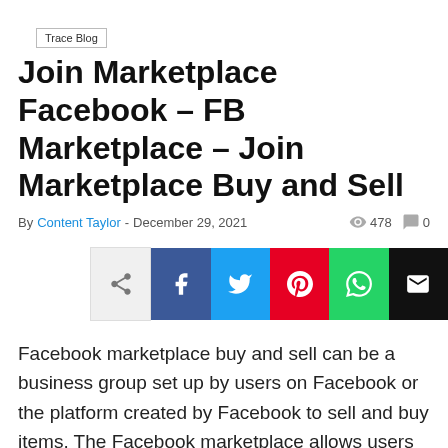Trace Blog
Join Marketplace Facebook – FB Marketplace – Join Marketplace Buy and Sell
By Content Taylor - December 29, 2021   478   0
[Figure (other): Social share bar with share, Facebook, Twitter, Pinterest, WhatsApp, and email buttons]
Facebook marketplace buy and sell can be a business group set up by users on Facebook or the platform created by Facebook to sell and buy items. The Facebook marketplace allows users to join the services whereby listed item such car, house, phone, laptop, cameras, household items, and other